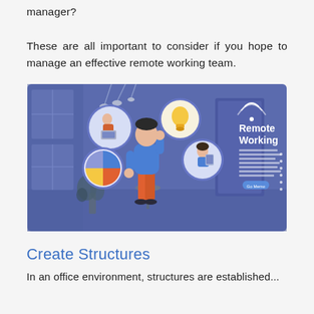manager?
These are all important to consider if you hope to manage an effective remote working team.
[Figure (illustration): Illustration of a remote working concept: a person in a blue shirt and orange pants stands in an office-like room with floating circular icons showing a person working at a laptop, a lightbulb, a pie chart, and a woman holding a tablet. Text on the right reads 'Remote Working' with decorative dots and small body text below.]
Create Structures
In an office environment, structures are established...